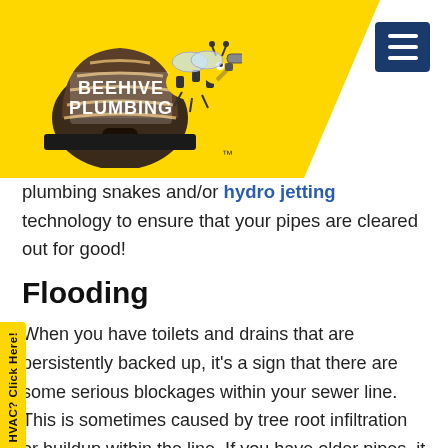[Figure (logo): Beehive Plumbing logo with cartoon bee and beehive on yellow background with diagonal cut, plus hamburger menu button in navy blue]
plumbing snakes and/or hydro jetting technology to ensure that your pipes are cleared out for good!
Flooding
When you have toilets and drains that are persistently backed up, it's a sign that there are some serious blockages within your sewer line. This is sometimes caused by tree root infiltration or buildup within the line. If you have older pipes, it could be that they're beginning to deteriorate and need to be replaced.

But no matter what is causing the flooding/buildup within your plumbing system, you're going to need a professional plumbing team to utilize state-of-the-art